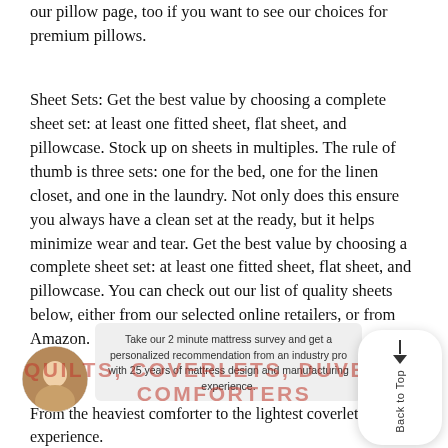our pillow page, too if you want to see our choices for premium pillows.
Sheet Sets: Get the best value by choosing a complete sheet set: at least one fitted sheet, flat sheet, and pillowcase. Stock up on sheets in multiples. The rule of thumb is three sets: one for the bed, one for the linen closet, and one in the laundry. Not only does this ensure you always have a clean set at the ready, but it helps minimize wear and tear. Get the best value by choosing a complete sheet set: at least one fitted sheet, flat sheet, and pillowcase. You can check out our list of quality sheets below, either from our selected online retailers, or from Amazon.
QUILTS, COVERLETS, DUVETS A COMFORTERS
Take our 2 minute mattress survey and get a personalized recommendation from an industry pro with 25 years of mattress design and manufacturing experience.
From the heaviest comforter to the lightest coverlet, each experience.